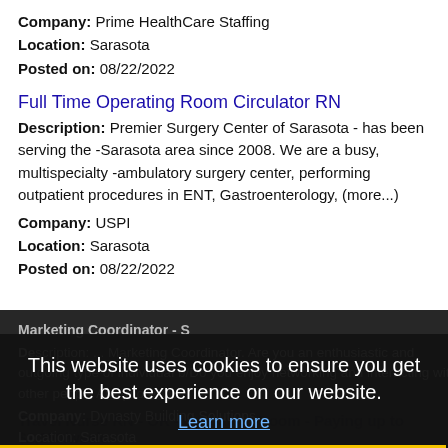Company: Prime HealthCare Staffing
Location: Sarasota
Posted on: 08/22/2022
Full Time Operating Room Circulator RN
Description: Premier Surgery Center of Sarasota - has been serving the -Sarasota area since 2008. We are a busy, multispecialty -ambulatory surgery center, performing outpatient procedures in ENT, Gastroenterology, (more...)
Company: USPI
Location: Sarasota
Posted on: 08/22/2022
Marketing Coordinator - S
Description: ... Marketing Coordinator. Are you an enthusiastic and outgoing type of individual b/Do you enjoy networking and interacting with other people Are (more...)
Company: Dynasty Building Solutions
Location: Sarasota
Posted on: 08/22/2022
This website uses cookies to ensure you get the best experience on our website.
Learn more
Got it!
Travel Nurse RN - OR - Operating Room - Paying up to $2,150/week